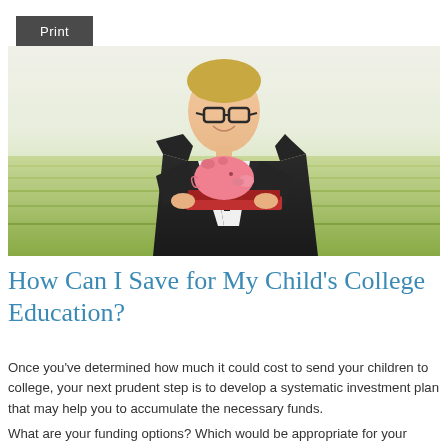Print
[Figure (photo): Young man in suit and glasses holding a pink piggy bank on top of books, standing in a green field]
How Can I Save for My Child’s College Education?
Once you’ve determined how much it could cost to send your children to college, your next prudent step is to develop a systematic investment plan that may help you to accumulate the necessary funds.
What are your funding options? Which would be appropriate for your situation? We’ve listed several